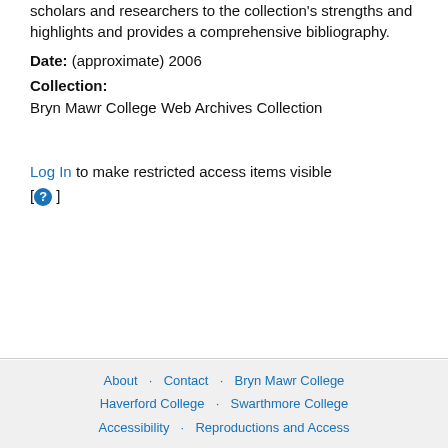scholars and researchers to the collection's strengths and highlights and provides a comprehensive bibliography.
Date: (approximate) 2006
Collection:
Bryn Mawr College Web Archives Collection
Log In to make restricted access items visible [ ? ]
About · Contact · Bryn Mawr College · Haverford College · Swarthmore College · Accessibility · Reproductions and Access